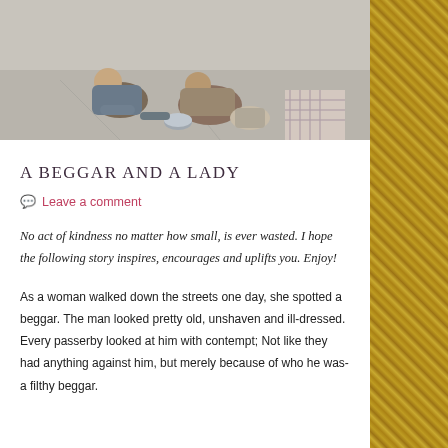[Figure (photo): Photo of people sitting on the street, appearing to be homeless or beggars, seen from above/street level]
A BEGGAR AND A LADY
Leave a comment
No act of kindness no matter how small, is ever wasted. I hope the following story inspires, encourages and uplifts you. Enjoy!
As a woman walked down the streets one day, she spotted a beggar. The man looked pretty old, unshaven and ill-dressed. Every passerby looked at him with contempt; Not like they had anything against him, but merely because of who he was- a filthy beggar.